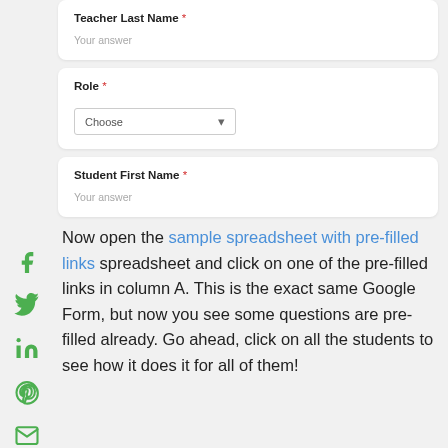[Figure (screenshot): Google Form screenshot showing 'Teacher Last Name' field with 'Your answer' placeholder, 'Role' dropdown with 'Choose' option, and 'Student First Name' field with 'Your answer' placeholder]
Now open the sample spreadsheet with pre-filled links spreadsheet and click on one of the pre-filled links in column A. This is the exact same Google Form, but now you see some questions are pre-filled already. Go ahead, click on all the students to see how it does it for all of them!